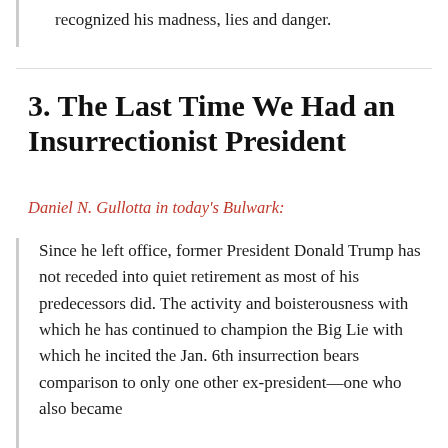recognized his madness, lies and danger.
3. The Last Time We Had an Insurrectionist President
Daniel N. Gullotta in today's Bulwark:
Since he left office, former President Donald Trump has not receded into quiet retirement as most of his predecessors did. The activity and boisterousness with which he has continued to champion the Big Lie with which he incited the Jan. 6th insurrection bears comparison to only one other ex-president—one who also became